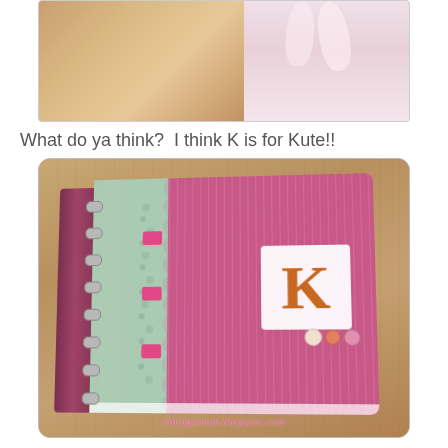[Figure (photo): Partial view of a photo showing a light brown/beige object on the left and what appears to be a white rabbit or floral design on the right, cropped at the top of the page]
What do ya think?  I think K is for Kute!!
[Figure (photo): A decorated spiral-bound notebook with a pink striped cover. The cover features a lace-edged decorative strip on the spine side, a white label with an orange letter K, and small pink/cream flower embellishments. The notebook is photographed on a wooden surface at an angle. Watermark reads: vintagymom.blogspot.com]